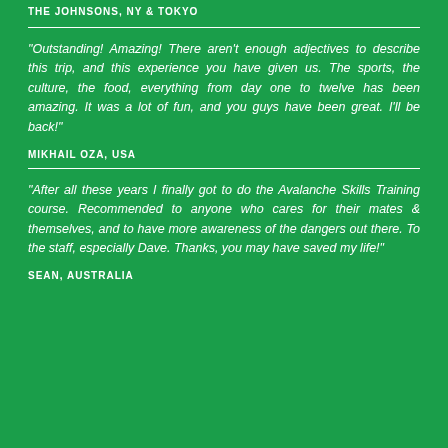THE JOHNSONS, NY & TOKYO
“Outstanding! Amazing! There aren’t enough adjectives to describe this trip, and this experience you have given us. The sports, the culture, the food, everything from day one to twelve has been amazing. It was a lot of fun, and you guys have been great. I’ll be back!”
MIKHAIL OZA, USA
“After all these years I finally got to do the Avalanche Skills Training course. Recommended to anyone who cares for their mates & themselves, and to have more awareness of the dangers out there. To the staff, especially Dave. Thanks, you may have saved my life!”
SEAN, AUSTRALIA